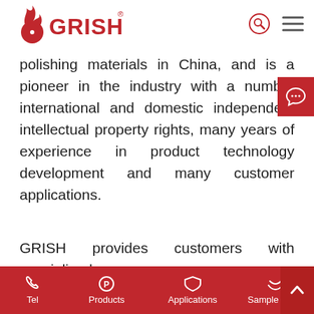GRISH logo with navigation icons
polishing materials in China, and is a pioneer in the industry with a number international and domestic independent intellectual property rights, many years of experience in product technology development and many customer applications.
GRISH provides customers with specialized
Tel | Products | Applications | Sample Apply